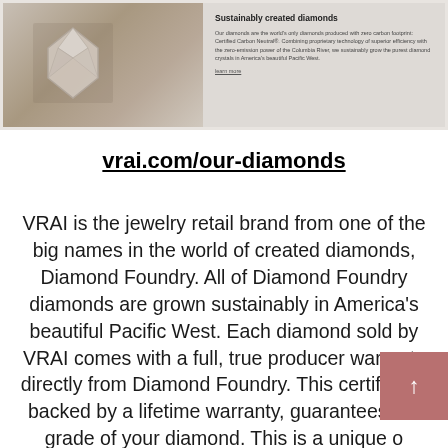[Figure (screenshot): Screenshot of a website page showing a diamond on rock texture on the left and text 'Sustainably created diamonds' with body text and a 'learn more' link on the right, on a light grey background.]
vrai.com/our-diamonds
VRAI is the jewelry retail brand from one of the big names in the world of created diamonds, Diamond Foundry. All of Diamond Foundry diamonds are grown sustainably in America’s beautiful Pacific West. Each diamond sold by VRAI comes with a full, true producer warranty directly from Diamond Foundry. This certificate, backed by a lifetime warranty, guarantees the grade of your diamond. This is a unique offering which is not possible to obtain elsewhere.